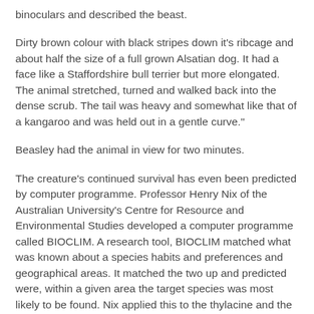binoculars and described the beast.
Dirty brown colour with black stripes down it's ribcage and about half the size of a full grown Alsatian dog. It had a face like a Staffordshire bull terrier but more elongated. The animal stretched, turned and walked back into the dense scrub. The tail was heavy and somewhat like that of a kangaroo and was held out in a gentle curve."
Beasley had the animal in view for two minutes.
The creature's continued survival has even been predicted by computer programme. Professor Henry Nix of the Australian University's Centre for Resource and Environmental Studies developed a computer programme called BIOCLIM. A research tool, BIOCLIM matched what was known about a species habits and preferences and geographical areas. It matched the two up and predicted were, within a given area the target species was most likely to be found. Nix applied this to the thylacine and the BIOCLIM programme. There was an almost perfect match to where the programme predicted the animals would be if they had survived and